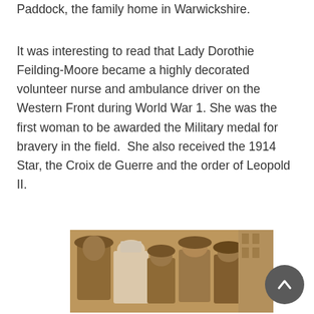Paddock, the family home in Warwickshire.
It was interesting to read that Lady Dorothie Feilding-Moore became a highly decorated volunteer nurse and ambulance driver on the Western Front during World War 1. She was the first woman to be awarded the Military medal for bravery in the field.  She also received the 1914 Star, the Croix de Guerre and the order of Leopold II.
[Figure (photo): Sepia-toned historical photograph showing a group of people including a woman dressed as a nurse in white habit, surrounded by men in hats and military attire, likely from World War 1 era.]